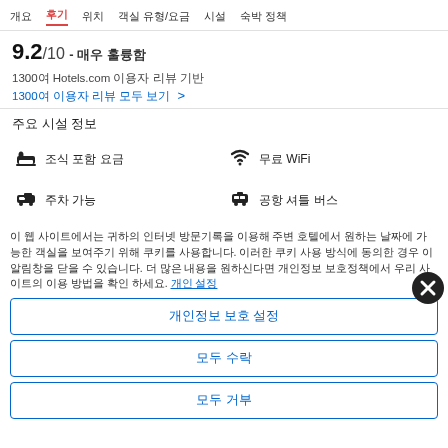개요  후기  위치  객실 유형/요금  시설  숙박 정책
9.2/10 - 매우 훌륭함
1300여 Hotels.com 이용자 리뷰 기반
1300여 이용자 리뷰 모두 보기 >
주요 시설 정보
☕ 조식 포함 요금
📶 무료 WiFi
🚗 주차 가능
🚌 공항 셔틀 버스
이 웹 사이트에서는 귀하의 인터넷 방문기록을 이용해 주변 호텔에서 원하는 날짜에 가능한 객실을 보여주기 위해 쿠키를 사용합니다. 이 사이트 이용 약관에 동의하지 않으신 경우, 이 사이트를 이용하지 않으실 수 있습니다. 더 많은 내용을 위해 개인정보 보호정책에서 우리 사이트의 이용 방법을 확인 하세요. 개인 설정
개인정보 보호 설정
모두 수락
모두 거부